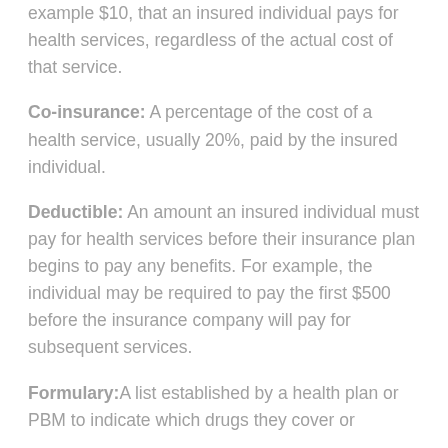example $10, that an insured individual pays for health services, regardless of the actual cost of that service.
Co-insurance: A percentage of the cost of a health service, usually 20%, paid by the insured individual.
Deductible: An amount an insured individual must pay for health services before their insurance plan begins to pay any benefits. For example, the individual may be required to pay the first $500 before the insurance company will pay for subsequent services.
Formulary: A list established by a health plan or PBM to indicate which drugs they cover or